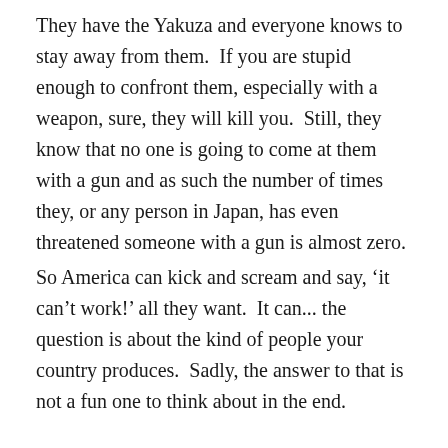They have the Yakuza and everyone knows to stay away from them.  If you are stupid enough to confront them, especially with a weapon, sure, they will kill you.  Still, they know that no one is going to come at them with a gun and as such the number of times they, or any person in Japan, has even threatened someone with a gun is almost zero.
So America can kick and scream and say, ‘it can’t work!’ all they want.  It can... the question is about the kind of people your country produces.  Sadly, the answer to that is not a fun one to think about in the end.